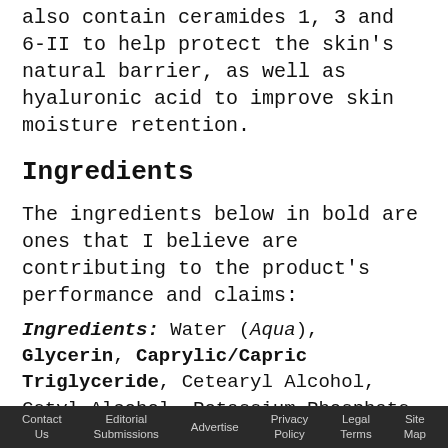also contain ceramides 1, 3 and 6-II to help protect the skin's natural barrier, as well as hyaluronic acid to improve skin moisture retention.
Ingredients
The ingredients below in bold are ones that I believe are contributing to the product's performance and claims:
Ingredients: Water (Aqua), Glycerin, Caprylic/Capric Triglyceride, Cetearyl Alcohol, Cetyl Alcohol, Potassium Phosphate, Ceramide NP, Ceramide AP, Ceramide EOP, Carbomer, Dimethicone, Ceteareth-20, Behentrimonium Methosulfate, Methylparaben
Contact Us   Editorial Submissions   Advertise   Privacy Policy   Legal Terms   Site Map